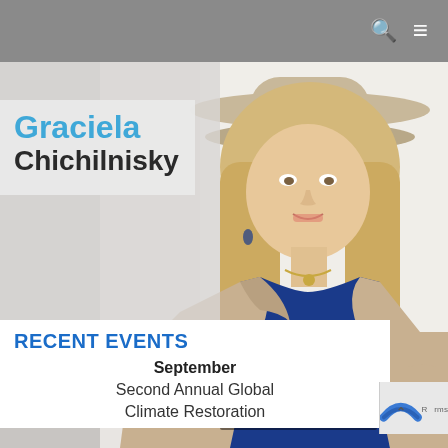[Figure (photo): Portrait photo of Graciela Chichilnisky, a woman with long blonde hair wearing a wide-brimmed beige hat, blue top and beige coat, smiling. Background is white/light grey. Photo credit: Photo By Michael Timmons.]
Graciela Chichilnisky
RECENT EVENTS
September
Second Annual Global Climate Restoration
Photo By Michael Timmons